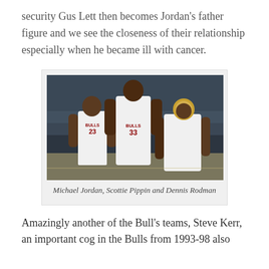security Gus Lett then becomes Jordan's father figure and we see the closeness of their relationship especially when he became ill with cancer.
[Figure (photo): Photo of Michael Jordan (#23), Scottie Pippin (#33), and Dennis Rodman in Chicago Bulls white uniforms on the court.]
Michael Jordan, Scottie Pippin and Dennis Rodman
Amazingly another of the Bull's teams, Steve Kerr, an important cog in the Bulls from 1993-98 also